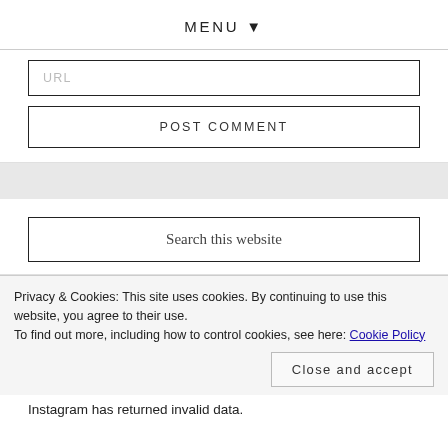MENU ▼
URL
POST COMMENT
Search this website
Privacy & Cookies: This site uses cookies. By continuing to use this website, you agree to their use.
To find out more, including how to control cookies, see here: Cookie Policy
Close and accept
Instagram has returned invalid data.